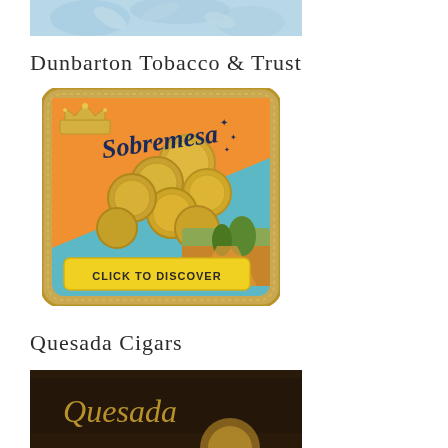[Figure (photo): Partial cropped image at top of page, appears to be a light blue decorative/floral background pattern]
Dunbarton Tobacco & Trust
[Figure (illustration): Sobremesa cigar brand advertisement image - square box label with gold coin imagery, teal/orange colors, crown, text 'Sobremesa' in navy script, and yellow banner reading 'CLICK TO DISCOVER']
Quesada Cigars
[Figure (photo): Partial bottom image showing Quesada cigar brand label/box, dark brown background with gold italic 'Quesada' text]